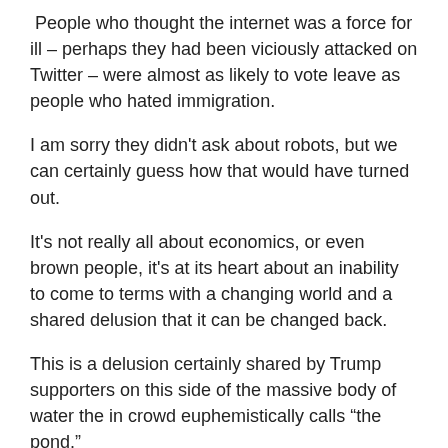People who thought the internet was a force for ill – perhaps they had been viciously attacked on Twitter – were almost as likely to vote leave as people who hated immigration.
I am sorry they didn't ask about robots, but we can certainly guess how that would have turned out.
It's not really all about economics, or even brown people, it's at its heart about an inability to come to terms with a changing world and a shared delusion that it can be changed back.
This is a delusion certainly shared by Trump supporters on this side of the massive body of water the in crowd euphemistically calls “the pond.”
Also, kind of interesting that capitalism was split 51-49 on both sides of the debate. The economic system we are forever wed to like an old fashioned Catholic couple, isn't  all that overwhelmingly popular anymore.  Half of